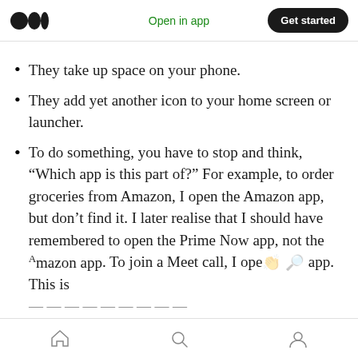Open in app | Get started
They take up space on your phone.
They add yet another icon to your home screen or launcher.
To do something, you have to stop and think, “Which app is this part of?” For example, to order groceries from Amazon, I open the Amazon app, but don’t find it. I later realise that I should have remembered to open the Prime Now app, not the Amazon app. To join a Meet call, I ope… app. This is
Home | Search | Profile